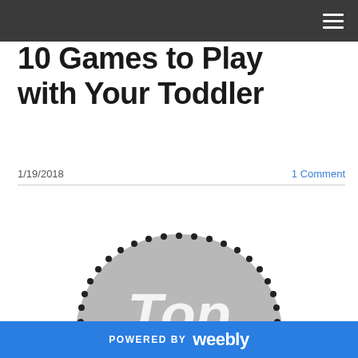Navigation bar with hamburger menu
10 Games to Play with Your Toddler
1/19/2018   1 Comment
[Figure (illustration): Circular badge graphic with 'Our Family's Top' text inside a gray circle with decorative dots around the border]
POWERED BY weebly